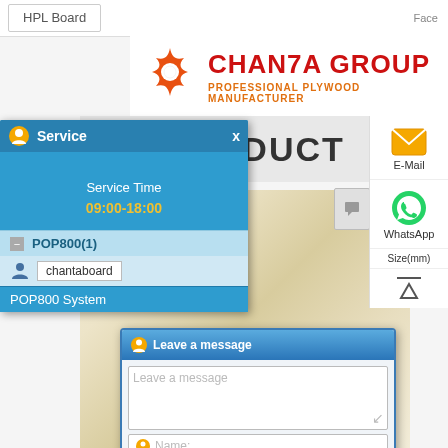[Figure (screenshot): Screenshot of Chanta Group website showing HPL Board navigation, company logo with orange star icon, 'CHANTA GROUP' in red text, subtitle 'PROFESSIONAL PLYWOOD MANUFACTURER', HOT PRODUCT banner, plywood product image, right sidebar with E-Mail and WhatsApp icons, a POP800 live chat service popup on the left showing service hours 09:00-18:00 and agent 'chantaboard', and a 'Leave a message' dialog box with Name, Tel., Email fields and a Submit button.]